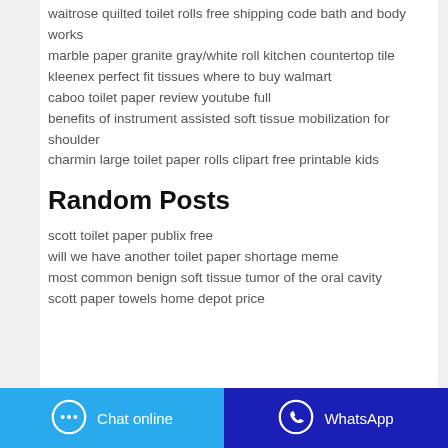waitrose quilted toilet rolls free shipping code bath and body works
marble paper granite gray/white roll kitchen countertop tile
kleenex perfect fit tissues where to buy walmart
caboo toilet paper review youtube full
benefits of instrument assisted soft tissue mobilization for shoulder
charmin large toilet paper rolls clipart free printable kids
Random Posts
scott toilet paper publix free
will we have another toilet paper shortage meme
most common benign soft tissue tumor of the oral cavity
scott paper towels home depot price